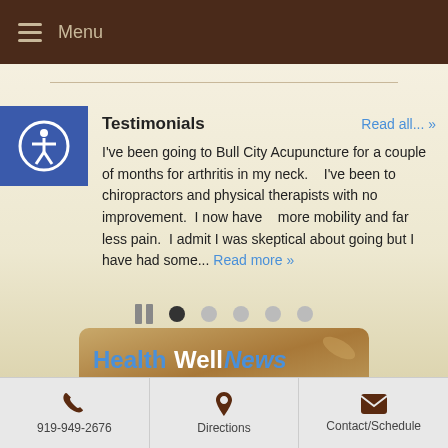Menu
Testimonials
I've been going to Bull City Acupuncture for a couple of months for arthritis in my neck.    I've been to chiropractors and physical therapists with no improvement.  I now have    more mobility and far less pain.  I admit I was skeptical about going but I have had some...
[Figure (screenshot): HealthWellNews Summer banner with tan/gold background]
919-949-2676   Directions   Contact/Schedule